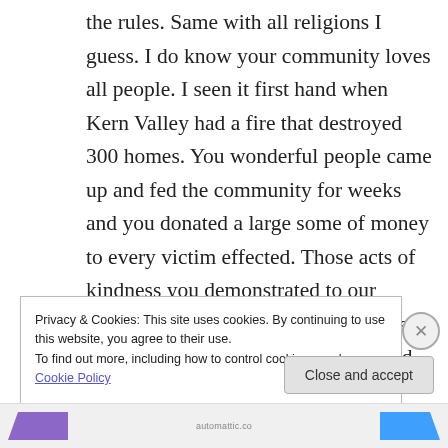the rules. Same with all religions I guess. I do know your community loves all people. I seen it first hand when Kern Valley had a fire that destroyed 300 homes. You wonderful people came up and fed the community for weeks and you donated a large some of money to every victim effected. Those acts of kindness you demonstrated to our community proves you are peaceful and loving people. Our prayers to you and your family…. and this Country!
Privacy & Cookies: This site uses cookies. By continuing to use this website, you agree to their use.
To find out more, including how to control cookies, see here: Cookie Policy
Close and accept